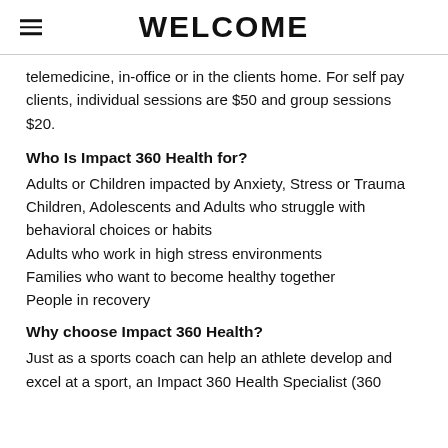WELCOME
telemedicine, in-office or in the clients home. For self pay clients, individual sessions are $50 and group sessions $20.
Who Is Impact 360 Health for?
Adults or Children impacted by Anxiety, Stress or Trauma
Children, Adolescents and Adults who struggle with behavioral choices or habits
Adults who work in high stress environments
Families who want to become healthy together
People in recovery
Why choose Impact 360 Health?
Just as a sports coach can help an athlete develop and excel at a sport, an Impact 360 Health Specialist (360